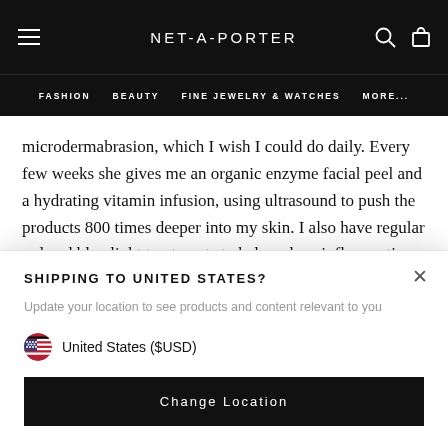NET-A-PORTER
FASHION   BEAUTY   FINE JEWELRY & WATCHES   MORE...
microdermabrasion, which I wish I could do daily. Every few weeks she gives me an organic enzyme facial peel and a hydrating vitamin infusion, using ultrasound to push the products 800 times deeper into my skin. I also have regular red and blue light treatments to help reduce inflammation and encourage collagen production.
SHIPPING TO UNITED STATES?
Update your location to see products and content relevant to you
United States ($USD)
Change Location